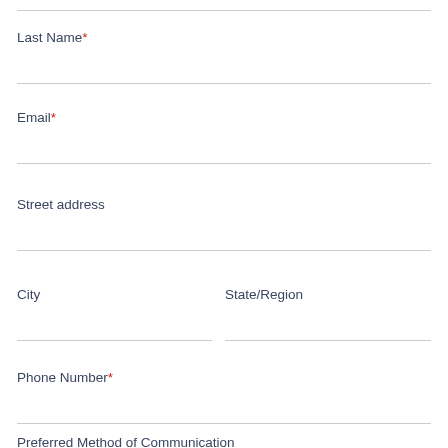Last Name*
Email*
Street address
City
State/Region
Phone Number*
Preferred Method of Communication